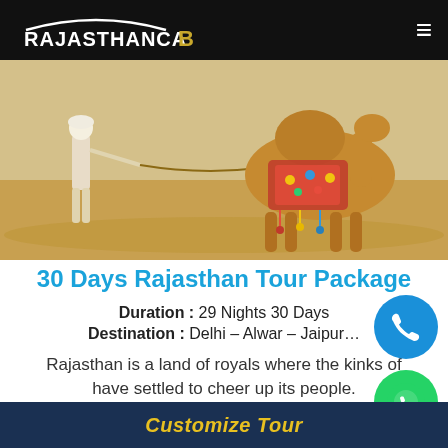RajasthanCaB
[Figure (photo): A man in white traditional attire leading a decorated camel across a sandy desert landscape.]
30 Days Rajasthan Tour Package
Duration : 29 Nights 30 Days
Destination : Delhi – Alwar – Jaipur…
Rajasthan is a land of royals where the kinks of have settled to cheer up its people.
Customize Tour